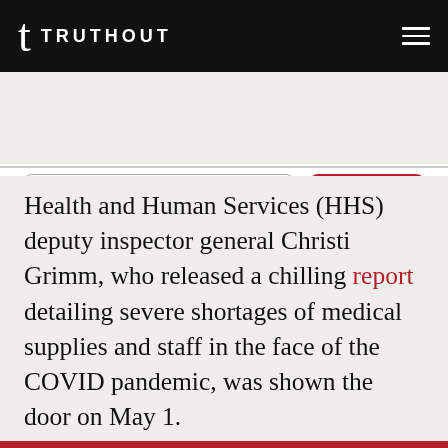TRUTHOUT
name@email.com
SUBSCRIBE
Health and Human Services (HHS) deputy inspector general Christi Grimm, who released a chilling report detailing severe shortages of medical supplies and staff in the face of the COVID pandemic, was shown the door on May 1.
These three actions — two vengeance firings and a money grab — are brazen enough on their